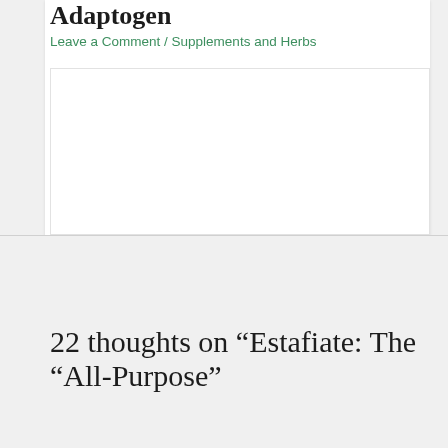Adaptogen
Leave a Comment / Supplements and Herbs
[Figure (other): White content area / image placeholder box]
22 thoughts on “Estafiate: The “All-Purpose”